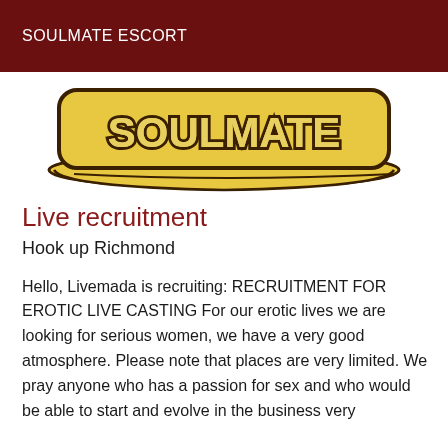SOULMATE ESCORT
[Figure (logo): Stylized logo with yellow bubble letters on dark outline, reading a website/brand name, with a curved banner underneath]
Live recruitment
Hook up Richmond
Hello, Livemada is recruiting: RECRUITMENT FOR EROTIC LIVE CASTING For our erotic lives we are looking for serious women, we have a very good atmosphere. Please note that places are very limited. We pray anyone who has a passion for sex and who would be able to start and evolve in the business very